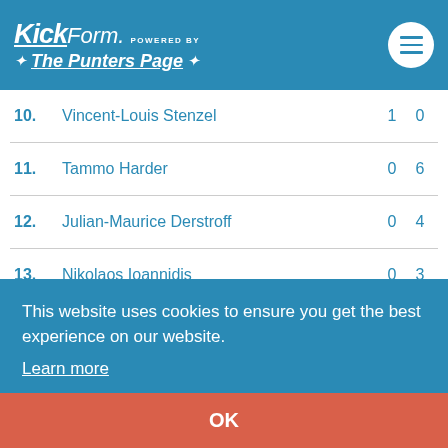KickForm. POWERED BY The Punters Page
| # | Name |  |  |
| --- | --- | --- | --- |
| 10. | Vincent-Louis Stenzel | 1 | 0 |
| 11. | Tammo Harder | 0 | 6 |
| 12. | Julian-Maurice Derstroff | 0 | 4 |
| 13. | Nikolaos Ioannidis | 0 | 3 |
| 14. | Jeremy Dudziak | 0 | 2 |
| 15. | Edisson Jordanov | 0 | 2 |
| 16. | Evans Owusu Nyarko | 0 | 2 |
| 17. | (obscured by cookie) | 0 |  |
| 18. | (obscured by cookie) | 0 | 1 |
| 19. | (obscured by cookie) | 0 | 1 |
| 20. | Mitsuru Maruoka | 0 | 1 |
This website uses cookies to ensure you get the best experience on our website. Learn more
OK